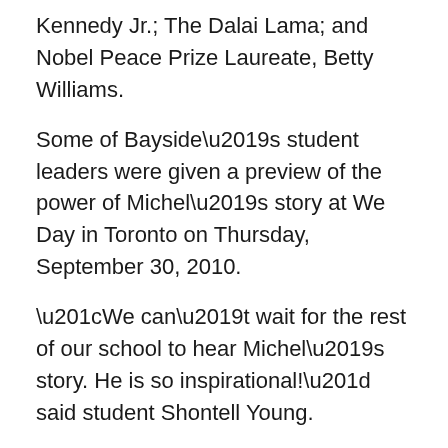Kennedy Jr.; The Dalai Lama; and Nobel Peace Prize Laureate, Betty Williams.
Some of Bayside’s student leaders were given a preview of the power of Michel’s story at We Day in Toronto on Thursday, September 30, 2010.
“We can’t wait for the rest of our school to hear Michel’s story. He is so inspirational!” said student Shontell Young.
Michel should have no trouble inspiring the students to believe in their ability to create change. Bayside’s students have a strong legacy of social responsibility and involvement. As a “We School,” registered with Free the Children’s We Schools in Action Program, Bayside has fundraised to build a school in China, sells ethically-made school clothing and raised $10,000 last year for local food banks with Meal Exchange’s 24-Hours for Hunger Campaign.
This year, Bayside is working hard on its Halloween for Hunger campaign to collect non-perishable food items for local food